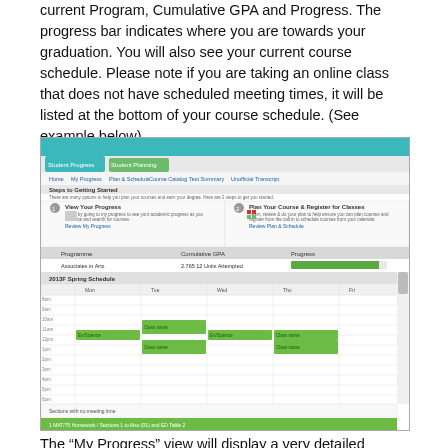current Program, Cumulative GPA and Progress. The progress bar indicates where you are towards your graduation. You will also see your current course schedule. Please note if you are taking an online class that does not have scheduled meeting times, it will be listed at the bottom of your course schedule. (See example below)
[Figure (screenshot): Screenshot of a student portal showing 'Steps to Getting Started' with two panels: 'View Your Progress' and 'Plan Your Course & Register for Classes'. Below shows a progress table with Programme, Cumulative GPA, and Progress columns with a green progress bar. A weekly course schedule calendar is displayed with green appointment blocks on various days. At the bottom shows 'Sections with no meeting time'.]
The “My Progress” view will display a very detailed